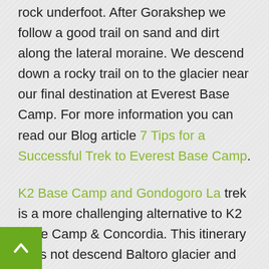rock underfoot. After Gorakshep we follow a good trail on sand and dirt along the lateral moraine. We descend down a rocky trail on to the glacier near our final destination at Everest Base Camp. For more information you can read our Blog article 7 Tips for a Successful Trek to Everest Base Camp.
K2 Base Camp and Gondogoro La trek is a more challenging alternative to K2 Base Camp & Concordia. This itinerary does not descend Baltoro glacier and instead exits from Concordia over Gondogoro La pass (5,560m). This hike finishes at the road head in Hushe village where we drive to Skardu. The Gondogoro pass is technical and requires mountaineering experience. For more